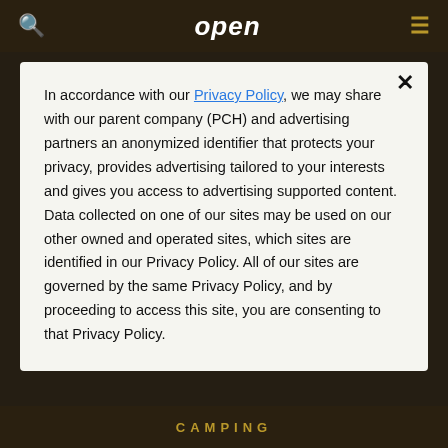open
In accordance with our Privacy Policy, we may share with our parent company (PCH) and advertising partners an anonymized identifier that protects your privacy, provides advertising tailored to your interests and gives you access to advertising supported content. Data collected on one of our sites may be used on our other owned and operated sites, which sites are identified in our Privacy Policy. All of our sites are governed by the same Privacy Policy, and by proceeding to access this site, you are consenting to that Privacy Policy.
CAMPING